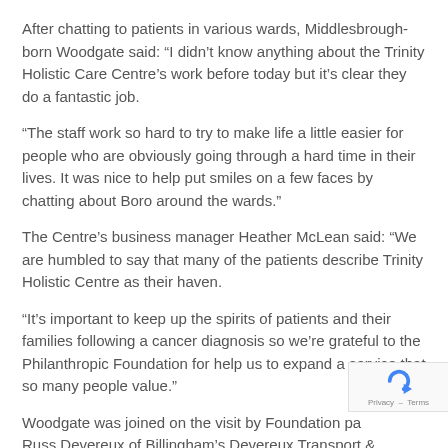After chatting to patients in various wards, Middlesbrough-born Woodgate said: “I didn’t know anything about the Trinity Holistic Care Centre’s work before today but it’s clear they do a fantastic job.
“The staff work so hard to try to make life a little easier for people who are obviously going through a hard time in their lives. It was nice to help put smiles on a few faces by chatting about Boro around the wards.”
The Centre’s business manager Heather McLean said: “We are humbled to say that many of the patients describe Trinity Holistic Centre as their haven.
“It’s important to keep up the spirits of patients and their families following a cancer diagnosis so we’re grateful to the Philanthropic Foundation for help us to expand a service that so many people value.”
Woodgate was joined on the visit by Foundation pa… Russ Devereux of Billingham’s Devereux Transport … Nigel Willis of Kirkleatham-based First Choice Labe…